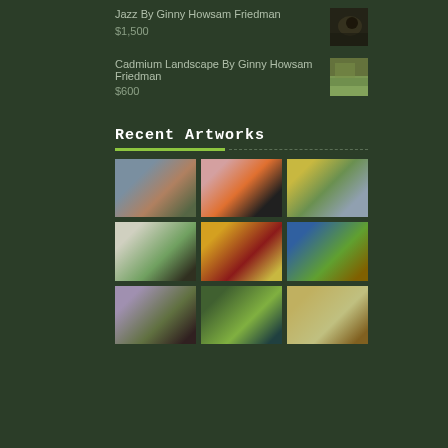Jazz By Ginny Howsam Friedman
$1,500
[Figure (photo): Small thumbnail of abstract painting Jazz by Ginny Howsam Friedman]
Cadmium Landscape By Ginny Howsam Friedman
$600
[Figure (photo): Small thumbnail of Cadmium Landscape by Ginny Howsam Friedman]
Recent Artworks
[Figure (photo): 3x3 grid of nine abstract artwork thumbnails by Ginny Howsam Friedman]